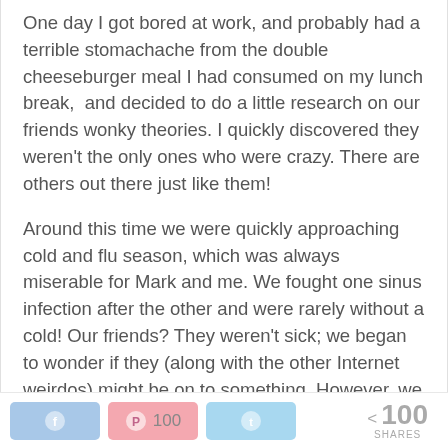One day I got bored at work, and probably had a terrible stomachache from the double cheeseburger meal I had consumed on my lunch break,  and decided to do a little research on our friends wonky theories. I quickly discovered they weren't the only ones who were crazy. There are others out there just like them!
Around this time we were quickly approaching cold and flu season, which was always miserable for Mark and me. We fought one sinus infection after the other and were rarely without a cold! Our friends? They weren't sick; we began to wonder if they (along with the other Internet weirdos) might be on to something. However, we continued to buy over the counter cold and flu...
100 SHARES